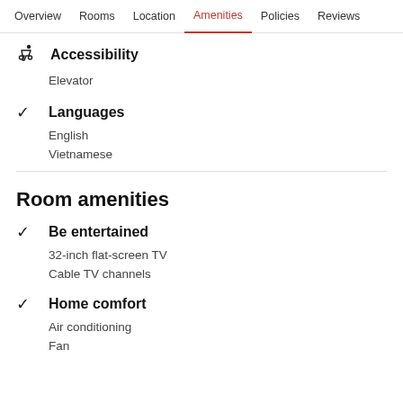Overview  Rooms  Location  Amenities  Policies  Reviews
Accessibility
Elevator
Languages
English
Vietnamese
Room amenities
Be entertained
32-inch flat-screen TV
Cable TV channels
Home comfort
Air conditioning
Fan